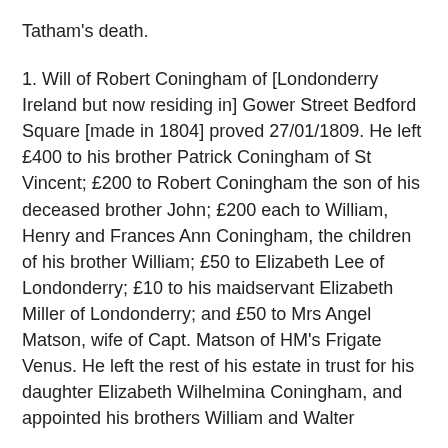Tatham's death.
1. Will of Robert Coningham of [Londonderry Ireland but now residing in] Gower Street Bedford Square [made in 1804] proved 27/01/1809. He left £400 to his brother Patrick Coningham of St Vincent; £200 to Robert Coningham the son of his deceased brother John; £200 each to William, Henry and Frances Ann Coningham, the children of his brother William; £50 to Elizabeth Lee of Londonderry; £10 to his maidservant Elizabeth Miller of Londonderry; and £50 to Mrs Angel Matson, wife of Capt. Matson of HM's Frigate Venus. He left the rest of his estate in trust for his daughter Elizabeth Wilhelmina Coningham, and appointed his brothers William and Walter